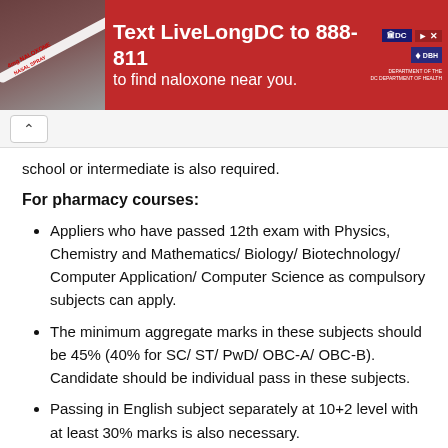[Figure (infographic): Red banner advertisement: Text LiveLongDC to 888-811 to find naloxone near you. Contains a photo of a syringe/naloxone, DC government logo, and DBH logo.]
school or intermediate is also required.
For pharmacy courses:
Appliers who have passed 12th exam with Physics, Chemistry and Mathematics/ Biology/ Biotechnology/ Computer Application/ Computer Science as compulsory subjects can apply.
The minimum aggregate marks in these subjects should be 45% (40% for SC/ ST/ PwD/ OBC-A/ OBC-B). Candidate should be individual pass in these subjects.
Passing in English subject separately at 10+2 level with at least 30% marks is also necessary.